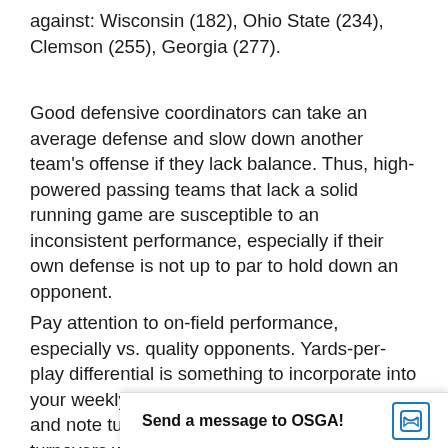against: Wisconsin (182), Ohio State (234), Clemson (255), Georgia (277).
Good defensive coordinators can take an average defense and slow down another team's offense if they lack balance. Thus, high-powered passing teams that lack a solid running game are susceptible to an inconsistent performance, especially if their own defense is not up to par to hold down an opponent.
Pay attention to on-field performance, especially vs. quality opponents. Yards-per-play differential is something to incorporate into your weekly handicap and match-up analysis, and note turnovers. special team's scores and turnovers won't show up in box scores and
Send a message to OSGA!